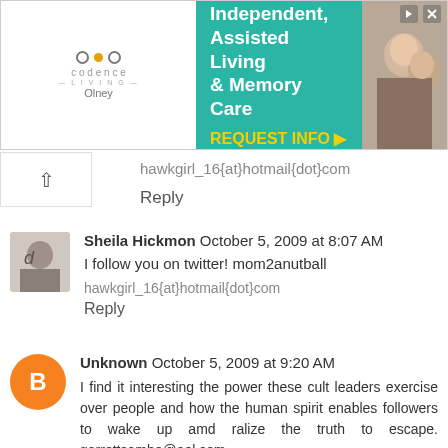[Figure (other): Advertisement banner for Codence Living Olney — Independent, Assisted Living & Memory Care with REQUEST INFO link. Teal background with white text and elderly couple photo.]
hawkgirl_16{at}hotmail{dot}com
Reply
Sheila Hickmon October 5, 2009 at 8:07 AM
I follow you on twitter! mom2anutball
hawkgirl_16{at}hotmail{dot}com
Reply
Unknown October 5, 2009 at 9:20 AM
I find it interesting the power these cult leaders exercise over people and how the human spirit enables followers to wake up amd ralize the truth to escape. garrettsambo@aol.com